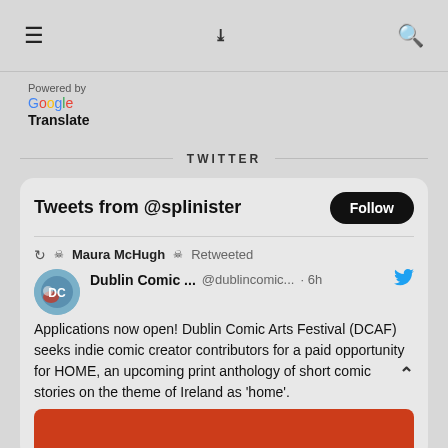≡  ❯❯  🔍
Powered by
Google
Translate
TWITTER
Tweets from @splinister
☠Maura McHugh☠ Retweeted
Dublin Comic ...  @dublincomic...  · 6h
Applications now open! Dublin Comic Arts Festival (DCAF) seeks indie comic creator contributors for a paid opportunity for HOME, an upcoming print anthology of short comic stories on the theme of Ireland as 'home'.
[Figure (screenshot): Red/orange image preview at the bottom of the tweet card]